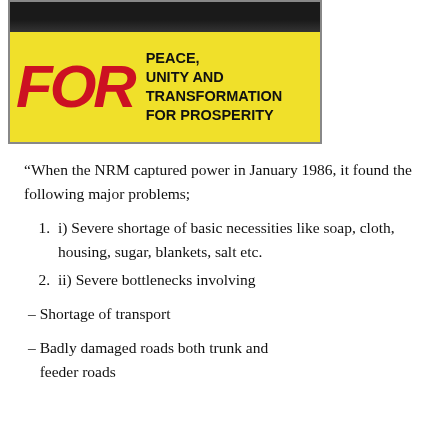[Figure (photo): Political campaign poster with yellow background showing 'FOR' in large red letters and text 'PEACE, UNITY AND TRANSFORMATION FOR PROSPERITY' in bold black. A person is visible at the top in a dark background strip.]
“When the NRM captured power in January 1986, it found the following major problems;
i) Severe shortage of basic necessities like soap, cloth, housing, sugar, blankets, salt etc.
ii) Severe bottlenecks involving
– Shortage of transport
– Badly damaged roads both trunk and feeder roads